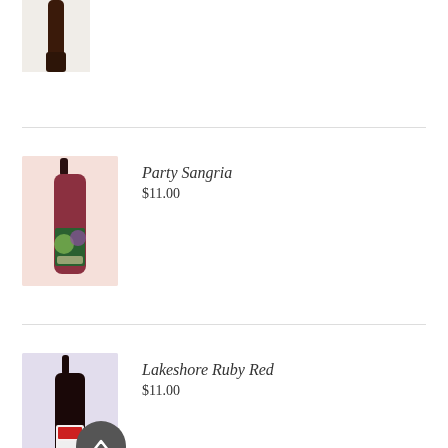[Figure (photo): Partial view of wine bottle product image at top of page, cropped]
[Figure (photo): Party Sangria wine bottle in pink/red wine bottle on pink background]
Party Sangria
$11.00
[Figure (photo): Lakeshore Ruby Red wine bottle on lavender/purple background with back-to-top button overlay]
Lakeshore Ruby Red
$11.00